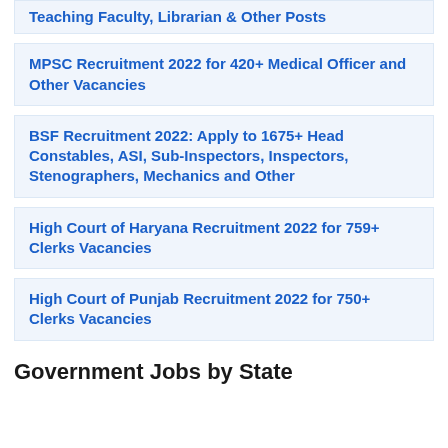CPSC Recruitment 2022 for Assistant Professors, Teaching Faculty, Librarian & Other Posts
MPSC Recruitment 2022 for 420+ Medical Officer and Other Vacancies
BSF Recruitment 2022: Apply to 1675+ Head Constables, ASI, Sub-Inspectors, Inspectors, Stenographers, Mechanics and Other
High Court of Haryana Recruitment 2022 for 759+ Clerks Vacancies
High Court of Punjab Recruitment 2022 for 750+ Clerks Vacancies
Government Jobs by State